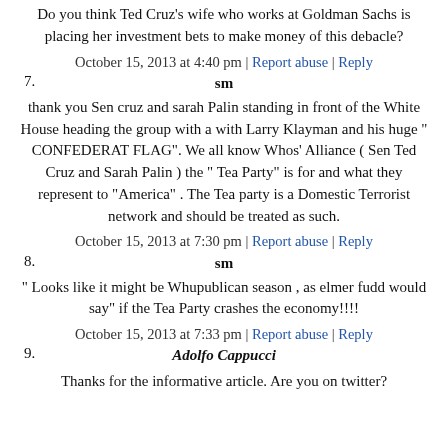Do you think Ted Cruz's wife who works at Goldman Sachs is placing her investment bets to make money of this debacle?
October 15, 2013 at 4:40 pm | Report abuse | Reply
7. sm
thank you Sen cruz and sarah Palin standing in front of the White House heading the group with a with Larry Klayman and his huge " CONFEDERAT FLAG". We all know Whos' Alliance ( Sen Ted Cruz and Sarah Palin ) the " Tea Party" is for and what they represent to "America" . The Tea party is a Domestic Terrorist network and should be treated as such.
October 15, 2013 at 7:30 pm | Report abuse | Reply
8. sm
" Looks like it might be Whupublican season , as elmer fudd would say" if the Tea Party crashes the economy!!!!
October 15, 2013 at 7:33 pm | Report abuse | Reply
9. Adolfo Cappucci
Thanks for the informative article. Are you on twitter?